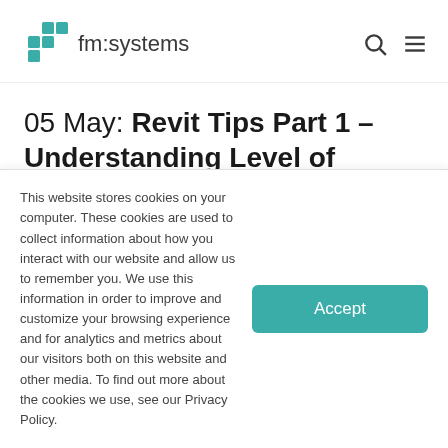fm:systems
05 May: Revit Tips Part 1 – Understanding Level of Development or LOD
I'll be writing a multi-part blog series covering some best practices that we've discovered while working
This website stores cookies on your computer. These cookies are used to collect information about how you interact with our website and allow us to remember you. We use this information in order to improve and customize your browsing experience and for analytics and metrics about our visitors both on this website and other media. To find out more about the cookies we use, see our Privacy Policy.